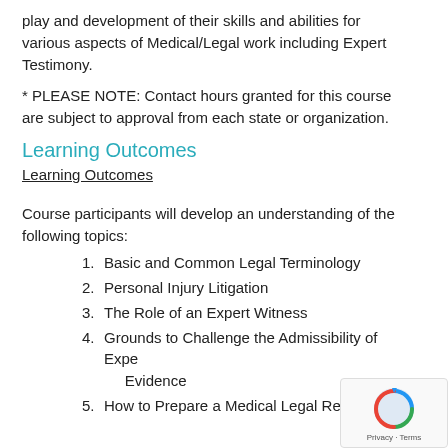play and development of their skills and abilities for various aspects of Medical/Legal work including Expert Testimony.
* PLEASE NOTE: Contact hours granted for this course are subject to approval from each state or organization.
Learning Outcomes
Learning Outcomes
Course participants will develop an understanding of the following topics:
Basic and Common Legal Terminology
Personal Injury Litigation
The Role of an Expert Witness
Grounds to Challenge the Admissibility of Expert Evidence
How to Prepare a Medical Legal Report